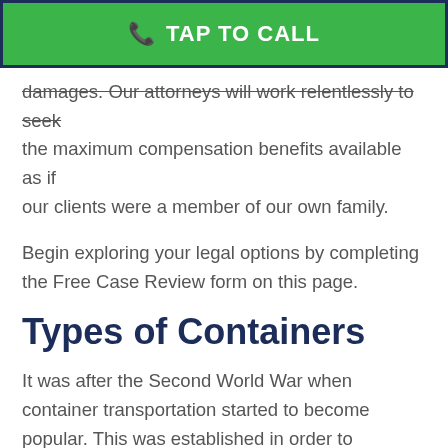[Figure (other): Green TAP TO CALL button with phone icon]
damages. Our attorneys will work relentlessly to seek the maximum compensation benefits available as if our clients were a member of our own family.
Begin exploring your legal options by completing the Free Case Review form on this page.
Types of Containers
It was after the Second World War when container transportation started to become popular. This was established in order to increase international trade, productivity, and efficiency.  These reusable steel containers are also referred to as intermodal containers. With such containers shippers can